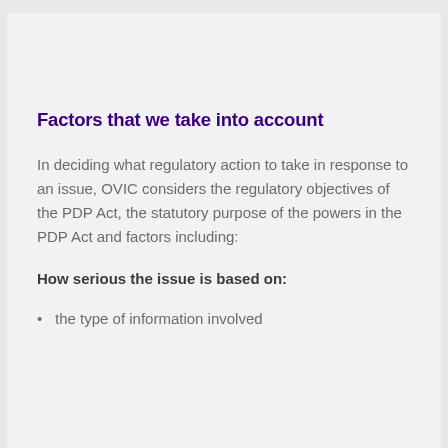Factors that we take into account
In deciding what regulatory action to take in response to an issue, OVIC considers the regulatory objectives of the PDP Act, the statutory purpose of the powers in the PDP Act and factors including:
How serious the issue is based on:
the type of information involved